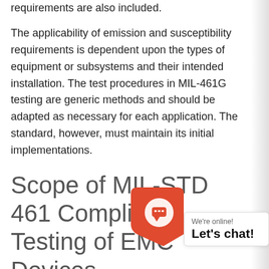requirements are also included.
The applicability of emission and susceptibility requirements is dependent upon the types of equipment or subsystems and their intended installation. The test procedures in MIL-461G testing are generic methods and should be adapted as necessary for each application. The standard, however, must maintain its initial implementations.
Scope of MIL-STD 461 Compliance Testing of EMC Devices
Electronic, electrical, and electromechanical equipment and subsystems must comply with the applicable general interface requirements